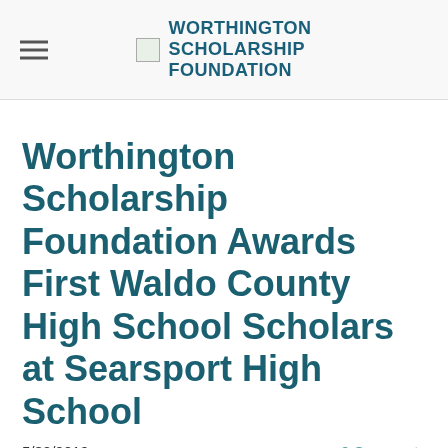WORTHINGTON SCHOLARSHIP FOUNDATION
Worthington Scholarship Foundation Awards First Waldo County High School Scholars at Searsport High School
5/30/2019    0 Comments
Eight graduating seniors at Searsport District High School were inaugural recipients of Worthington scholarships